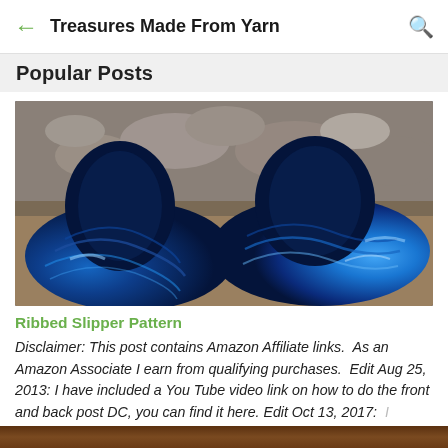← Treasures Made From Yarn 🔍
Popular Posts
[Figure (photo): Two blue crocheted slippers photographed outdoors on sandy/rocky ground, made from variegated blue yarn in a ribbed pattern.]
Ribbed Slipper Pattern
Disclaimer: This post contains Amazon Affiliate links.  As an Amazon Associate I earn from qualifying purchases.  Edit Aug 25, 2013: I have included a You Tube video link on how to do the front and back post DC, you can find it here. Edit Oct 13, 2017:  I am  ...